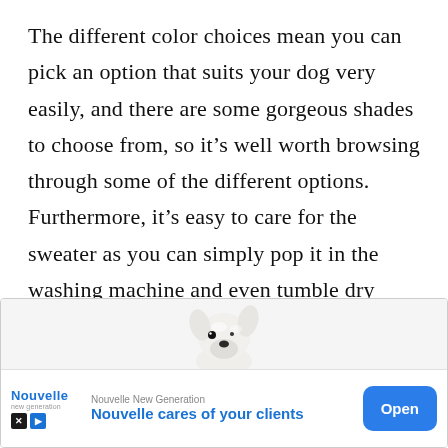The different color choices mean you can pick an option that suits your dog very easily, and there are some gorgeous shades to choose from, so it’s well worth browsing through some of the different options. Furthermore, it’s easy to care for the sweater as you can simply pop it in the washing machine and even tumble dry without any worry.
[Figure (photo): White dog (appears to be a small breed like a Chihuahua or similar) looking upward, shown from the neck/head area, white fur against a light background]
Nouvelle New Generation
Nouvelle cares of your clients
Open